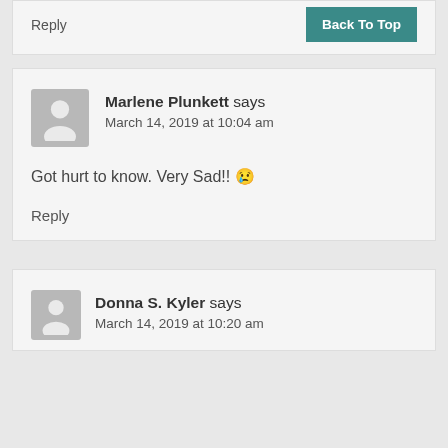Reply
Back To Top
Marlene Plunkett says
March 14, 2019 at 10:04 am
Got hurt to know. Very Sad!! 😢
Reply
Donna S. Kyler says
March 14, 2019 at 10:20 am